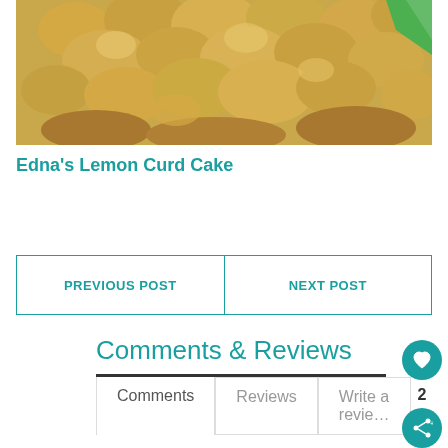[Figure (photo): Close-up photo of a golden-brown crumbly topped lemon curd cake, with a green garnish visible in the top right corner.]
Edna's Lemon Curd Cake
PREVIOUS POST | NEXT POST
Comments & Reviews
Comments | Reviews | Write a review